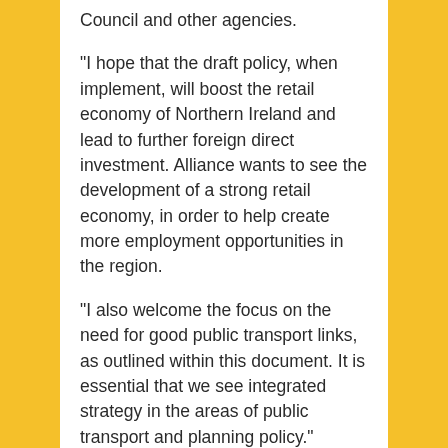Council and other agencies.
“I hope that the draft policy, when implement, will boost the retail economy of Northern Ireland and lead to further foreign direct investment. Alliance wants to see the development of a strong retail economy, in order to help create more employment opportunities in the region.
“I also welcome the focus on the need for good public transport links, as outlined within this document. It is essential that we see integrated strategy in the areas of public transport and planning policy.”
ENDS